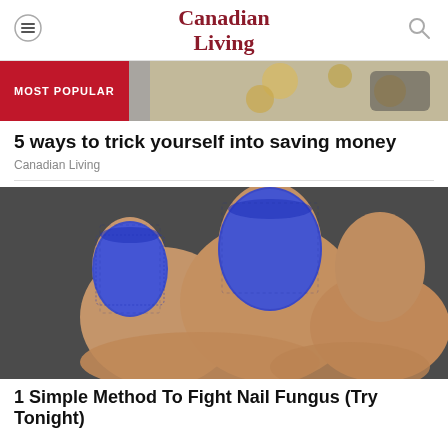Canadian Living
[Figure (photo): Partial photo showing coins and objects — MOST POPULAR banner section background]
5 ways to trick yourself into saving money
Canadian Living
[Figure (photo): Close-up photo of toes wrapped in blue bandage/tape material]
1 Simple Method To Fight Nail Fungus (Try Tonight)